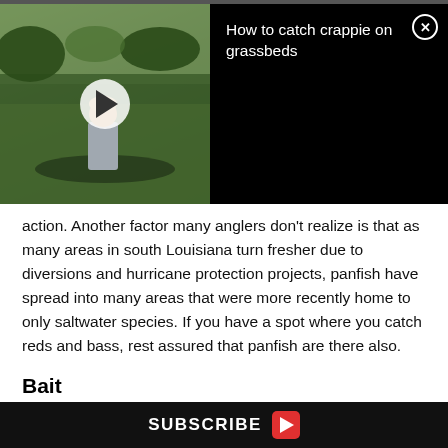[Figure (screenshot): Video thumbnail showing a person on a boat in a marsh/grassbed area, with a white play button circle overlay. Black panel to the right shows video title 'How to catch crappie on grassbeds' with a close (X) button.]
action. Another factor many anglers don't realize is that as many areas in south Louisiana turn fresher due to diversions and hurricane protection projects, panfish have spread into many areas that were more recently home to only saltwater species. If you have a spot where you catch reds and bass, rest assured that panfish are there also.
Bait
For cane poles, a pile of earthworms — buy or dig your own — is all you need for bait. With the worm threaded
SUBSCRIBE